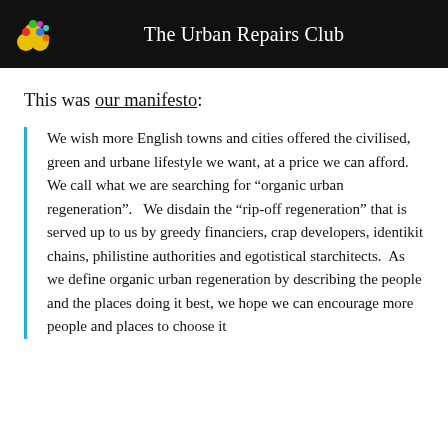The Urban Repairs Club
This was our manifesto:
We wish more English towns and cities offered the civilised, green and urbane lifestyle we want, at a price we can afford.  We call what we are searching for “organic urban regeneration”.   We disdain the “rip-off regeneration” that is served up to us by greedy financiers, crap developers, identikit chains, philistine authorities and egotistical starchitects.  As we define organic urban regeneration by describing the people and the places doing it best, we hope we can encourage more people and places to choose it